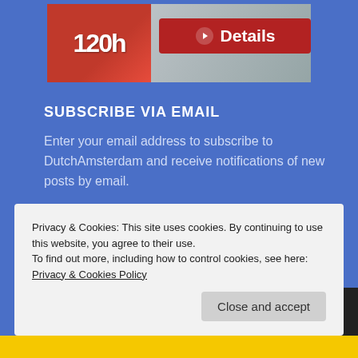[Figure (screenshot): Top banner image showing a red card with '120h' text and a red 'Details' button with a finger pointing icon]
SUBSCRIBE VIA EMAIL
Enter your email address to subscribe to DutchAmsterdam and receive notifications of new posts by email.
Email Address
Privacy & Cookies: This site uses cookies. By continuing to use this website, you agree to their use.
To find out more, including how to control cookies, see here: Privacy & Cookies Policy
Close and accept